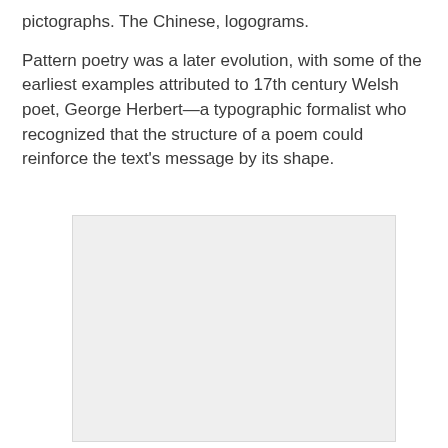pictographs. The Chinese, logograms.

Pattern poetry was a later evolution, with some of the earliest examples attributed to 17th century Welsh poet, George Herbert—a typographic formalist who recognized that the structure of a poem could reinforce the text's message by its shape.
[Figure (other): A light gray rectangular placeholder image box with a thin border.]